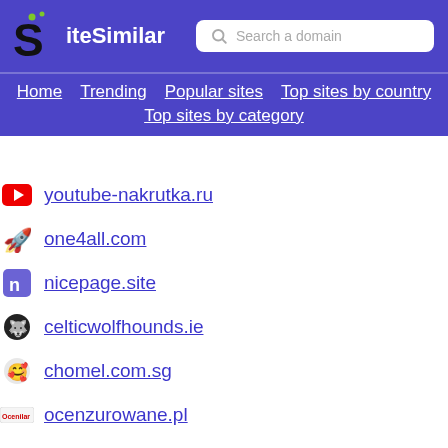SiteSimilar — Search a domain — Home | Trending | Popular sites | Top sites by country | Top sites by category
youtube-nakrutka.ru
one4all.com
nicepage.site
celticwolfhounds.ie
chomel.com.sg
ocenzurowane.pl
smarterbits.in